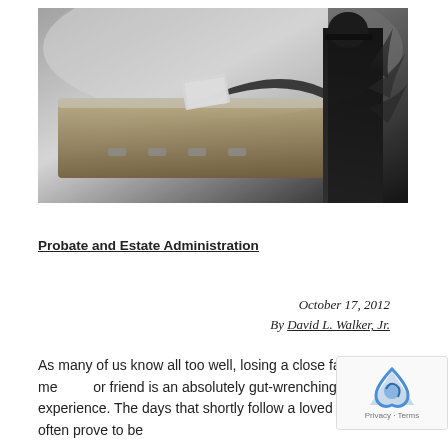[Figure (photo): Black and white photo of a person in dark clothing placing papers or flowers on a casket at a funeral service, with a plant visible in the background.]
Probate and Estate Administration
October 17, 2012
By David L. Walker, Jr.
As many of us know all too well, losing a close family member or friend is an absolutely gut-wrenching experience. The days that shortly follow a loved one's death often prove to be